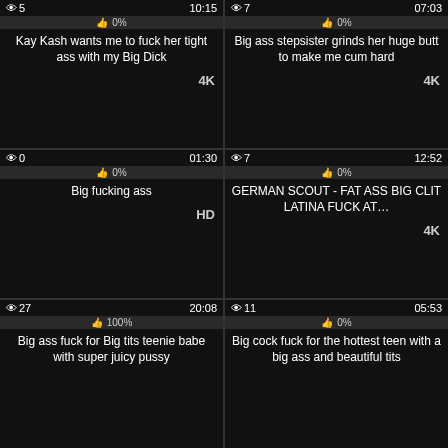[Figure (screenshot): Video thumbnail grid showing 6 adult video thumbnails with view counts, durations, like percentages, titles, and quality badges]
👁5  10:15  👁0%  Kay Kash wants me to fuck her tight ass with my Big Dick  4K
👁7  07:03  👁0%  Big ass stepsister grinds her huge butt to make me cum hard  4K
👁0  01:30  👁0%  Big fucking ass  HD
👁7  12:52  👁0%  GERMAN SCOUT - FAT ASS BIG CLIT LATINA FUCK AT...  4K
👁27  20:08  👁100%  Big ass fuck for Big tits teenie babe with super juicy pussy
👁11  05:53  👁0%  Big cock fuck for the hottest teen with a big ass and beautiful tits